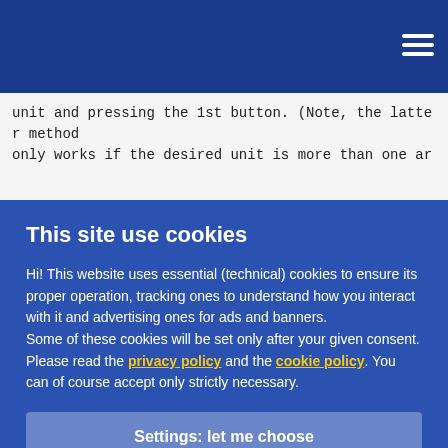Navigation menu (hamburger icon)
unit and pressing the 1st button. (Note, the latter method
only works if the desired unit is more than one ar
This site use cookies
Hi! This website uses essential (technical) cookies to ensure its proper operation, tracking ones to understand how you interact with it and advertising ones for ads and banners.
Some of these cookies will be set only after your given consent.
Please read the privacy policy and the cookie policy. You can of course accept only strictly necessary.
Settings: let me choose
Accept all